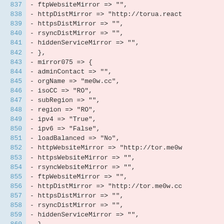837  -                ftpWebsiteMirror => "",
838  -                httpDistMirror => "http://torua.react
839  -                httpsDistMirror => "",
840  -                rsyncDistMirror => "",
841  -                hiddenServiceMirror => "",
842  -      },
843  -          mirror075 => {
844  -                adminContact => "",
845  -                orgName => "me0w.cc",
846  -                isoCC => "RO",
847  -                subRegion => "",
848  -                region => "RO",
849  -                ipv4 => "True",
850  -                ipv6 => "False",
851  -                loadBalanced => "No",
852  -                httpWebsiteMirror => "http://tor.me0w
853  -                httpsWebsiteMirror => "",
854  -                rsyncWebsiteMirror => "",
855  -                ftpWebsiteMirror => "",
856  -                httpDistMirror => "http://tor.me0w.cc
857  -                httpsDistMirror => "",
858  -                rsyncDistMirror => "",
859  -                hiddenServiceMirror => "",
860  -      },